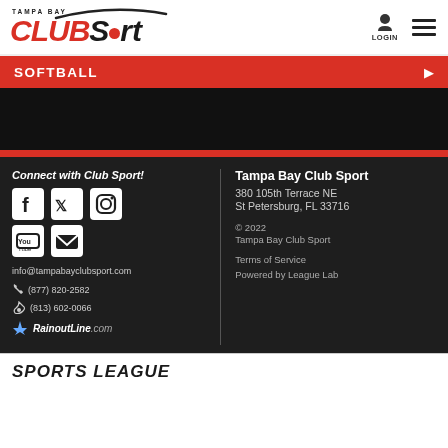[Figure (logo): Tampa Bay CLUBSport logo with arc graphic above, red CLUB text, black Sport text, red dot in Sport]
[Figure (screenshot): Login icon and hamburger menu icon in header top right]
SOFTBALL
[Figure (photo): Black video/image area below softball banner]
Connect with Club Sport!
[Figure (infographic): Social media icons: Facebook, Twitter, Instagram, YouTube, Email]
info@tampabayclubsport.com
(877) 820-2582
(813) 602-0066
[Figure (logo): RainoutLine.com logo]
Tampa Bay Club Sport
380 105th Terrace NE
St Petersburg, FL 33716
© 2022
Tampa Bay Club Sport
Terms of Service
Powered by League Lab
SPORTS LEAGUE